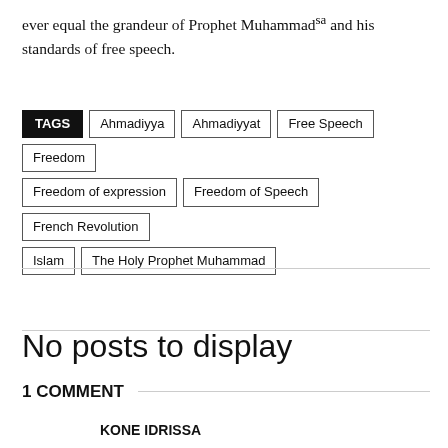ever equal the grandeur of Prophet Muhammadsa and his standards of free speech.
TAGS: Ahmadiyya | Ahmadiyyat | Free Speech | Freedom | Freedom of expression | Freedom of Speech | French Revolution | Islam | The Holy Prophet Muhammad
No posts to display
1 COMMENT
KONE IDRISSA